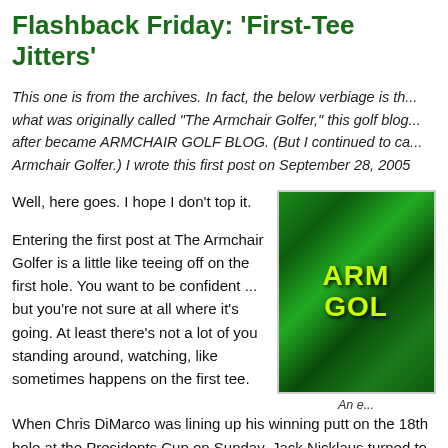Flashback Friday: 'First-Tee Jitters'
This one is from the archives. In fact, the below verbiage is th... what was originally called "The Armchair Golfer," this golf blog... after became ARMCHAIR GOLF BLOG. (But I continued to ca... Armchair Golfer.) I wrote this first post on September 28, 2005
Well, here goes. I hope I don't top it.
Entering the first post at The Armchair Golfer is a little like teeing off on the first hole. You want to be confident ... but you're not sure at all where it's going. At least there's not a lot of you standing around, watching, like sometimes happens on the first tee.
[Figure (photo): Book or blog cover image showing green grass/turf background with yellow text reading ARM GOLF (partially visible), representing the Armchair Golf Blog logo]
An e...
When Chris DiMarco was lining up his winning putt on the 18th hole at the Presidents Cup on Sunday, Jack Nicklaus turned to Fred Couples, who had holed a putt on a similar line against Vijay Singh.